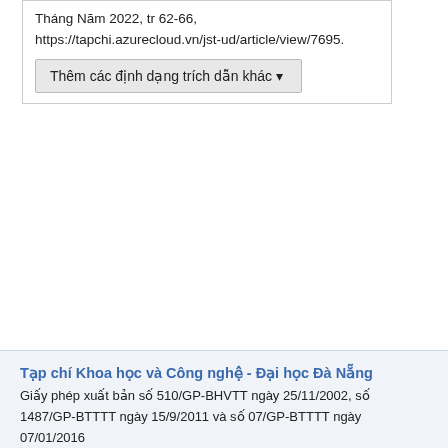Tháng Năm 2022, tr 62-66, https://tapchi.azurecloud.vn/jst-ud/article/view/7695.
Thêm các định dạng trích dẫn khác ▼
Tạp chí Khoa học và Công nghệ - Đại học Đà Nẵng
Giấy phép xuất bản số 510/GP-BHVTT ngày 25/11/2002, số 1487/GP-BTTTT ngày 15/9/2011 và số 07/GP-BTTTT ngày 07/01/2016
Tổng biên tập: GS.TSKH. Bùi Văn Ga
ISSN: 1859-1531
Địa chỉ: 41 Lê Duẩn, thành phố Đà Nẵng, Việt Nam
Số điện thoại: (+84)236. 3817 788
E-mail: jst-ud@udn.vn
Website: https://jst-ud.vn